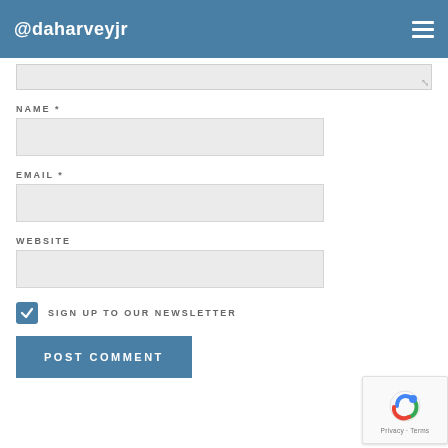@daharveyjr
NAME *
EMAIL *
WEBSITE
SIGN UP TO OUR NEWSLETTER
POST COMMENT